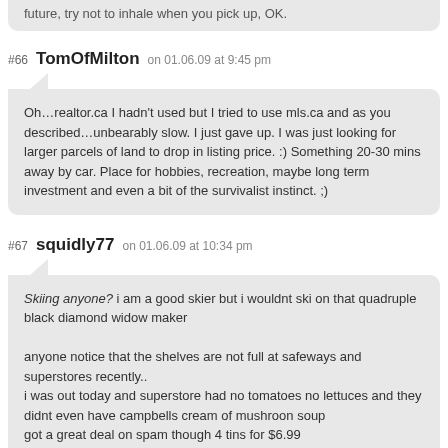future, try not to inhale when you pick up, OK.
#66 TomOfMilton on 01.06.09 at 9:45 pm
Oh…realtor.ca I hadn't used but I tried to use mls.ca and as you described…unbearably slow. I just gave up. I was just looking for larger parcels of land to drop in listing price. :) Something 20-30 mins away by car. Place for hobbies, recreation, maybe long term investment and even a bit of the survivalist instinct. ;)
#67 squidly77 on 01.06.09 at 10:34 pm
Skiing anyone? i am a good skier but i wouldnt ski on that quadruple black diamond widow maker

anyone notice that the shelves are not full at safeways and superstores recently..
i was out today and superstore had no tomatoes no lettuces and they didnt even have campbells cream of mushroon soup
got a great deal on spam though 4 tins for $6.99